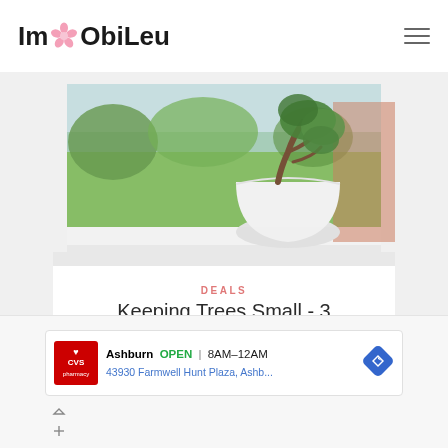ImObiLeu
[Figure (photo): A white potted plant/bonsai tree sitting on a window sill with a green garden visible through the window in the background]
DEALS
Keeping Trees Small - 3 Important Tips
2022
[Figure (infographic): CVS Pharmacy advertisement showing Ashburn location, OPEN 8AM-12AM, address 43930 Farmwell Hunt Plaza, Ashb...]